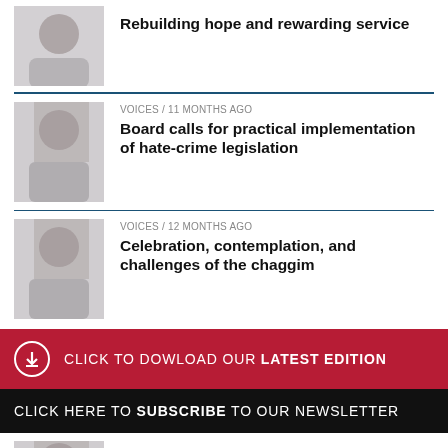[Figure (photo): Portrait photo of a man in professional attire]
Rebuilding hope and rewarding service
[Figure (photo): Portrait photo of a man wearing a kippah in professional attire]
VOICES / 11 months ago
Board calls for practical implementation of hate-crime legislation
[Figure (photo): Portrait photo of a man wearing a kippah in professional attire]
VOICES / 12 months ago
Celebration, contemplation, and challenges of the chaggim
CLICK TO DOWLOAD OUR LATEST EDITION
CLICK HERE TO SUBSCRIBE TO OUR NEWSLETTER
[Figure (photo): Partial portrait photo of a man]